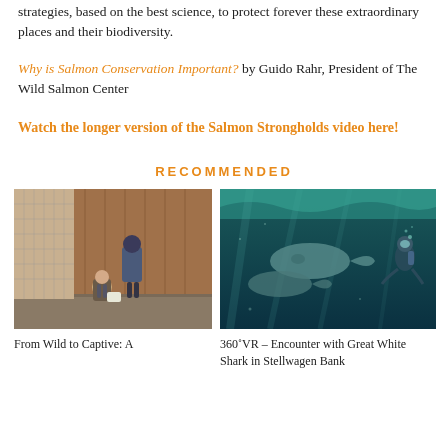strategies, based on the best science, to protect forever these extraordinary places and their biodiversity.
Why is Salmon Conservation Important? by Guido Rahr, President of The Wild Salmon Center
Watch the longer version of the Salmon Strongholds video here!
RECOMMENDED
[Figure (photo): Two people examining something near a fence structure, possibly a fish hatchery or wildlife enclosure]
From Wild to Captive: A
[Figure (photo): Underwater scene showing a diver near large marine animals (appears to be seals or sharks) in dark blue-green water]
360˚VR – Encounter with Great White Shark in Stellwagen Bank